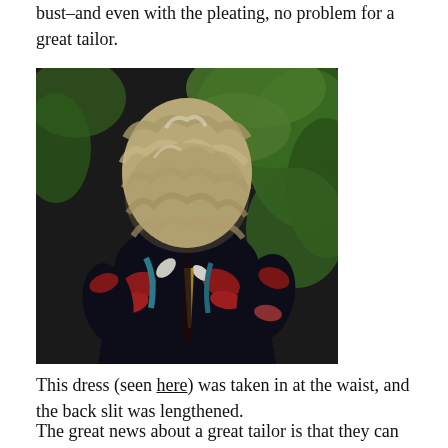bust–and even with the pleating, no problem for a great tailor.
[Figure (photo): Back view of a woman with wavy blonde-grey hair wearing a dark floral-print dress with a back slit, standing in front of green foliage.]
This dress (seen here) was taken in at the waist, and the back slit was lengthened.
The great news about a great tailor is that they can